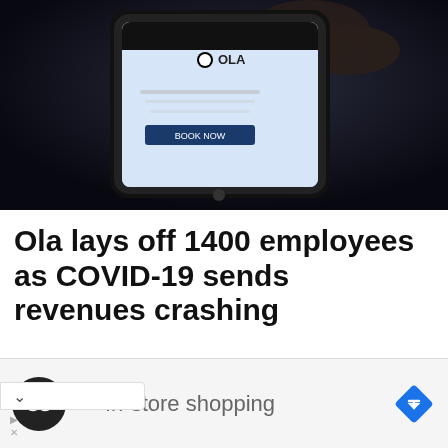[Figure (photo): Hand holding a smartphone displaying the Ola app interface, shown in a dark background setting]
Ola lays off 1400 employees as COVID-19 sends revenues crashing
Joining the list of Indian unicorns laying off large number of employees,...
[Figure (other): Advertisement banner with a dark circular logo with infinity-like symbol, a green checkmark, and text 'In-store shopping', with a blue diamond-shaped arrow icon on the right]